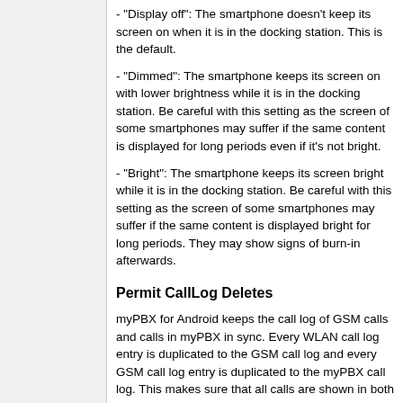- "Display off": The smartphone doesn't keep its screen on when it is in the docking station. This is the default.
- "Dimmed": The smartphone keeps its screen on with lower brightness while it is in the docking station. Be careful with this setting as the screen of some smartphones may suffer if the same content is displayed for long periods even if it's not bright.
- "Bright": The smartphone keeps its screen bright while it is in the docking station. Be careful with this setting as the screen of some smartphones may suffer if the same content is displayed bright for long periods. They may show signs of burn-in afterwards.
Permit CallLog Deletes
myPBX for Android keeps the call log of GSM calls and calls in myPBX in sync. Every WLAN call log entry is duplicated to the GSM call log and every GSM call log entry is duplicated to the myPBX call log. This makes sure that all calls are shown in both logs. If an entry is